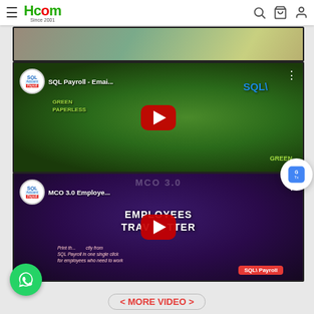Hcom Since 2001
[Figure (screenshot): Partial YouTube video thumbnail at top of page, showing background imagery]
[Figure (screenshot): YouTube video thumbnail: SQL Payroll - Email... with green earth globe imagery and SQL branding, red play button in center]
[Figure (screenshot): YouTube video thumbnail: MCO 3.0 Employee... showing EMPLOYEES TRAVEL LETTER text on dark purple background, red play button in center. Text: Print the... directly from SQL Payroll in one single click for employees who need to work]
< MORE VIDEO >